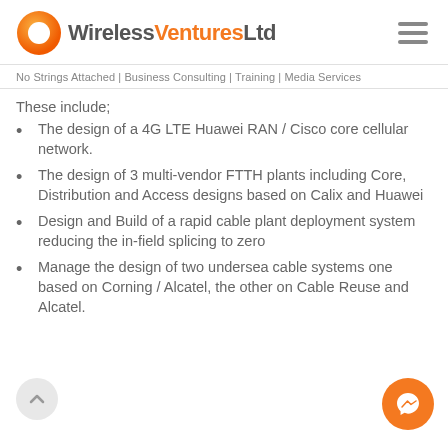Wireless Ventures Ltd
No Strings Attached | Business Consulting | Training | Media Services
These include;
The design of a 4G LTE Huawei RAN / Cisco core cellular network.
The design of 3 multi-vendor FTTH plants including Core, Distribution and Access designs based on Calix and Huawei
Design and Build of a rapid cable plant deployment system reducing the in-field splicing to zero
Manage the design of two undersea cable systems one based on Corning / Alcatel, the other on Cable Reuse and Alcatel.